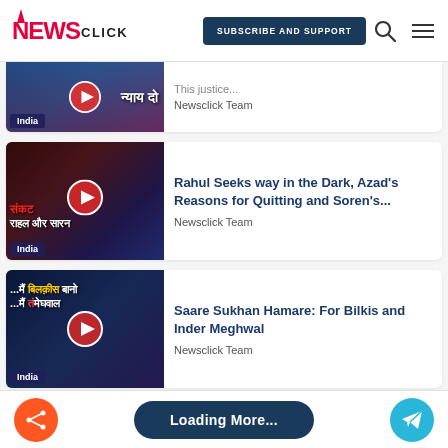NewsClick — SUBSCRIBE AND SUPPORT
[Figure (screenshot): Partial video thumbnail with Hindi text न्याय दो and India badge]
Newsclick Team
[Figure (screenshot): Video thumbnail with Hindi text संकट राहल और सारन, play button overlay]
Rahul Seeks way in the Dark, Azad's Reasons for Quitting and Soren's...
Newsclick Team
[Figure (screenshot): Video thumbnail with Hindi text ...मैं बिलकीस बानो ...मैं मेघवाल, play button overlay]
Saare Sukhan Hamare: For Bilkis and Inder Meghwal
Newsclick Team
Loading More...